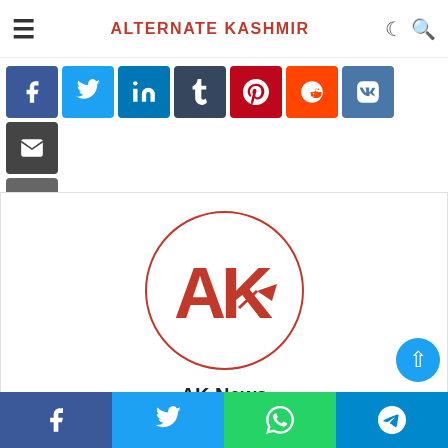ALTERNATE KASHMIR
[Figure (screenshot): Social media share buttons row: Facebook (blue), Twitter (light blue), LinkedIn (blue), Tumblr (dark blue), Pinterest (red), Reddit (orange), VK (blue), Email (dark), Print (dark gray)]
[Figure (logo): AK News circular logo with red border, showing AK letters with pen/camera icon inside white circle]
AK News
[Figure (infographic): Home icon link for AK News author]
[Figure (screenshot): Bottom share bar with Facebook, Twitter, WhatsApp, Telegram icons]